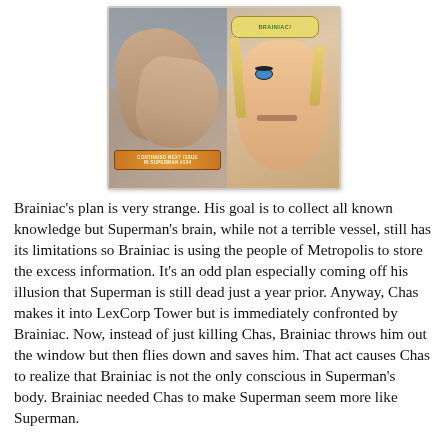[Figure (illustration): Comic book panel showing two scenes: left panel with hands gripping something against a city building background and a orange/gold banner at the bottom reading 'CONTINUED NEXT ISSUE IN SUPERMAN #134', right panel with a speech bubble saying 'BRAINIAC!' and a close-up of a woman's frightened face with blonde hair.]
Brainiac's plan is very strange. His goal is to collect all known knowledge but Superman's brain, while not a terrible vessel, still has its limitations so Brainiac is using the people of Metropolis to store the excess information. It's an odd plan especially coming off his illusion that Superman is still dead just a year prior. Anyway, Chas makes it into LexCorp Tower but is immediately confronted by Brainiac. Now, instead of just killing Chas, Brainiac throws him out the window but then flies down and saves him. That act causes Chas to realize that Brainiac is not the only conscious in Superman's body. Brainiac needed Chas to make Superman seem more like Superman.